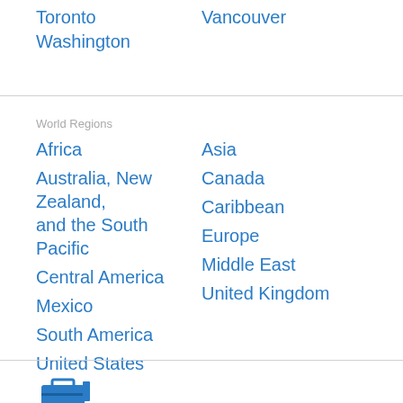Toronto
Vancouver
Washington
World Regions
Africa
Asia
Australia, New Zealand, and the South Pacific
Canada
Caribbean
Central America
Europe
Mexico
Middle East
South America
United Kingdom
United States